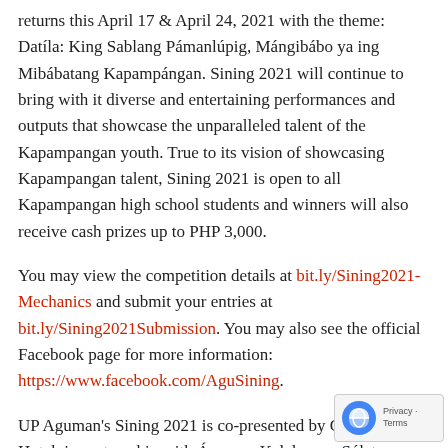returns this April 17 & April 24, 2021 with the theme: Datíla: King Sablang Pámanlúpig, Mángibábo ya ing Mibábatang Kapampángan. Sining 2021 will continue to bring with it diverse and entertaining performances and outputs that showcase the unparalleled talent of the Kapampangan youth. True to its vision of showcasing Kapampangan talent, Sining 2021 is open to all Kapampangan high school students and winners will also receive cash prizes up to PHP 3,000.
You may view the competition details at bit.ly/Sining2021-Mechanics and submit your entries at bit.ly/Sining2021Submission. You may also see the official Facebook page for more information: https://www.facebook.com/AguSining.
UP Aguman's Sining 2021 is co-presented by Clark Marriott Hotel, in partnership with Águman Kalalangan Súlat Kapampángan. This event is also